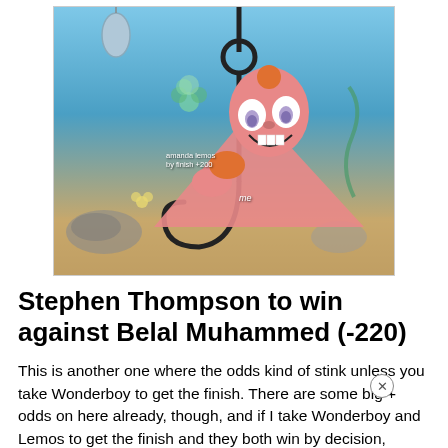[Figure (illustration): Meme image of Patrick Star from SpongeBob SquarePants on a fishing hook, with text overlay reading 'amanda lemos by finish +200' and 'me']
Stephen Thompson to win against Belal Muhammed (-220)
This is another one where the odds kind of stink unless you take Wonderboy to get the finish. There are some big + odds on here already, though, and if I take Wonderboy and Lemos to get the finish and they both win by decision,